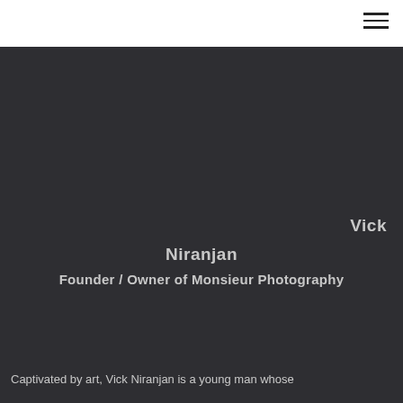[Figure (photo): Dark gray background hero section with a person named Vick Niranjan, Founder/Owner of Monsieur Photography. The photo area is a dark charcoal background.]
Vick
Niranjan
Founder / Owner of Monsieur Photography
Captivated by art, Vick Niranjan is a young man whose